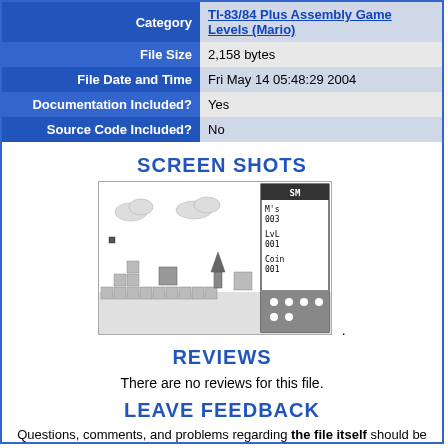| Category | File Size | File Date and Time | Documentation Included? | Source Code Included? |
| --- | --- | --- | --- | --- |
| Category | TI-83/84 Plus Assembly Game Levels (Mario) |
| File Size | 2,158 bytes |
| File Date and Time | Fri May 14 05:48:29 2004 |
| Documentation Included? | Yes |
| Source Code Included? | No |
SCREEN SHOTS
[Figure (screenshot): TI-83/84 calculator screen showing a Mario game level with platforms, character sprites, and HUD displaying M's 003, LvL 001, Coin 001]
REVIEWS
There are no reviews for this file.
LEAVE FEEDBACK
Questions, comments, and problems regarding the file itself should be sent directly to the author(s) listed above.
Write a review for this file (requires a free account)
Report inappropriate or miscategorized file (requires an account; or you may email us directly)